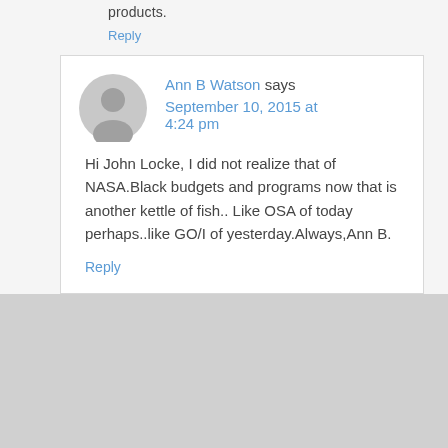products.
Reply
Ann B Watson says September 10, 2015 at 4:24 pm
Hi John Locke, I did not realize that of NASA.Black budgets and programs now that is another kettle of fish..Like OSA of today perhaps..like GO/I of yesterday.Always,Ann B.
Reply